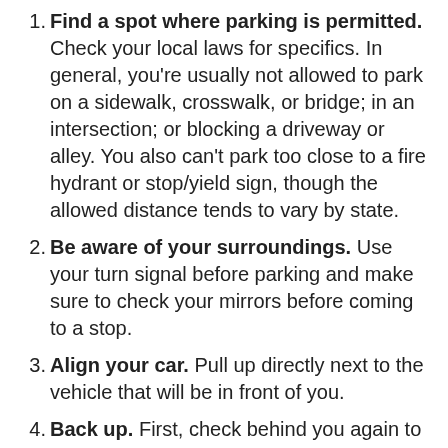1. Find a spot where parking is permitted. Check your local laws for specifics. In general, you're usually not allowed to park on a sidewalk, crosswalk, or bridge; in an intersection; or blocking a driveway or alley. You also can't park too close to a fire hydrant or stop/yield sign, though the allowed distance tends to vary by state.
2. Be aware of your surroundings. Use your turn signal before parking and make sure to check your mirrors before coming to a stop.
3. Align your car. Pull up directly next to the vehicle that will be in front of you.
4. Back up. First, check behind you again to make sure there are no pedestrians or oncoming cars. Then, begin back up while turning your wheel to the right. (Just make sure you don't clip the